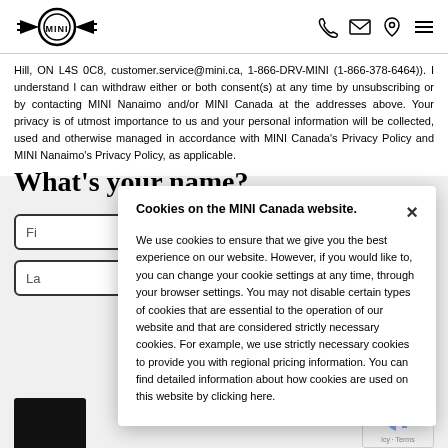MINI logo, phone icon, email icon, location icon, menu icon
Hill, ON L4S 0C8, customer.service@mini.ca, 1-866-DRV-MINI (1-866-378-6464)). I understand I can withdraw either or both consent(s) at any time by unsubscribing or by contacting MINI Nanaimo and/or MINI Canada at the addresses above. Your privacy is of utmost importance to us and your personal information will be collected, used and otherwise managed in accordance with MINI Canada's Privacy Policy and MINI Nanaimo's Privacy Policy, as applicable.
What’s your name?
Fi[rst name field]
La[st name field]
Cookies on the MINI Canada website.
We use cookies to ensure that we give you the best experience on our website. However, if you would like to, you can change your cookie settings at any time, through your browser settings. You may not disable certain types of cookies that are essential to the operation of our website and that are considered strictly necessary cookies. For example, we use strictly necessary cookies to provide you with regional pricing information. You can find detailed information about how cookies are used on this website by clicking here.